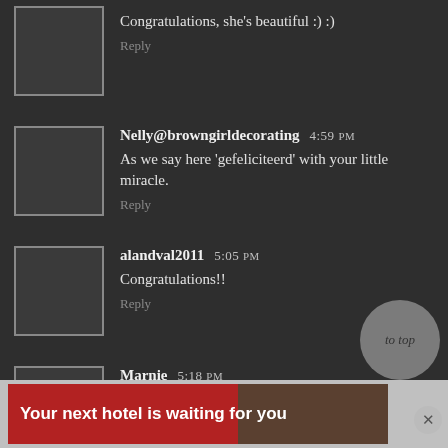Congratulations, she's beautiful :) :)
Reply
Nelly@browngirldecorating 4:59 PM
As we say here 'gefeliciteerd' with your little miracle.
Reply
alandval2011 5:05 PM
Congratulations!!
Reply
Marnie 5:18 PM
Congrats & Happy New Year!!! Love the name!
[Figure (screenshot): Advertisement banner: 'Your next hotel is waiting for you' with hotel image background, red background, play and close buttons]